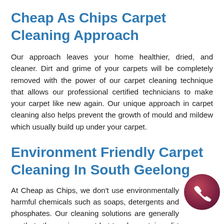Cheap As Chips Carpet Cleaning Approach
Our approach leaves your home healthier, dried, and cleaner. Dirt and grime of your carpets will be completely removed with the power of our carpet cleaning technique that allows our professional certified technicians to make your carpet like new again. Our unique approach in carpet cleaning also helps prevent the growth of mould and mildew which usually build up under your carpet.
Environment Friendly Carpet Cleaning In South Geelong
At Cheap as Chips, we don't use environmentally harmful chemicals such as soaps, detergents and phosphates. Our cleaning solutions are generally gentle to the environment but tough on stains, dirt grimes and pet odors. We bring the dirt in your carpet to the surface by using our unique hot water solution and